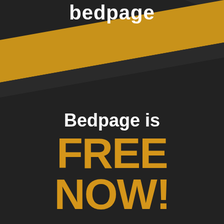[Figure (logo): Bedpage logo text in white bold font at the top, partially cropped, on dark background with diagonal golden/amber stripe across upper portion]
Bedpage is FREE NOW!
SIGNUP